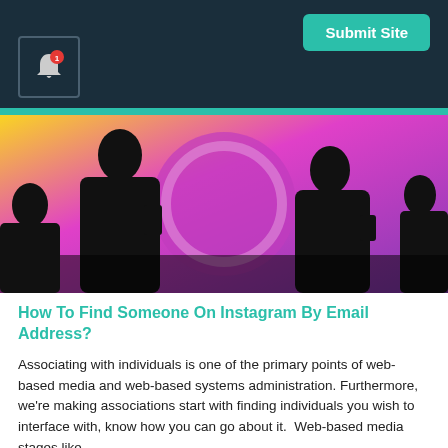Submit Site
[Figure (photo): Silhouettes of people using smartphones against an illuminated Instagram logo background with purple, yellow, and pink gradients]
How To Find Someone On Instagram By Email Address?
Associating with individuals is one of the primary points of web-based media and web-based systems administration. Furthermore, we're making associations start with finding individuals you wish to interface with, know how you can go about it.  Web-based media stages like…